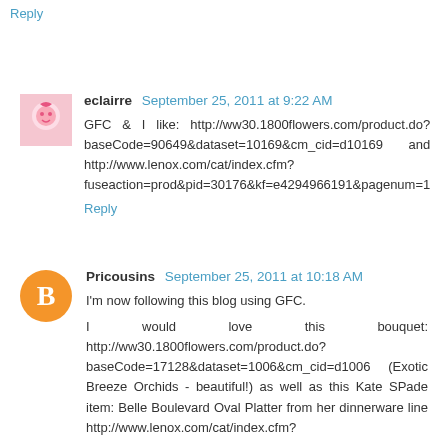Reply
eclairre  September 25, 2011 at 9:22 AM
GFC & I like: http://ww30.1800flowers.com/product.do?baseCode=90649&dataset=10169&cm_cid=d10169 and http://www.lenox.com/cat/index.cfm?fuseaction=prod&pid=30176&kf=e4294966191&pagenum=1
Reply
Pricousins  September 25, 2011 at 10:18 AM
I'm now following this blog using GFC.
I would love this bouquet: http://ww30.1800flowers.com/product.do?baseCode=17128&dataset=1006&cm_cid=d1006 (Exotic Breeze Orchids - beautiful!) as well as this Kate SPade item: Belle Boulevard Oval Platter from her dinnerware line http://www.lenox.com/cat/index.cfm?